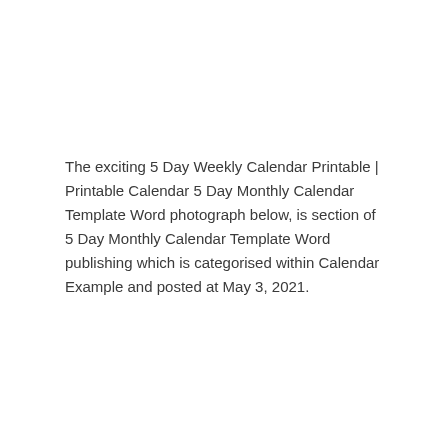The exciting 5 Day Weekly Calendar Printable | Printable Calendar 5 Day Monthly Calendar Template Word photograph below, is section of 5 Day Monthly Calendar Template Word publishing which is categorised within Calendar Example and posted at May 3, 2021.